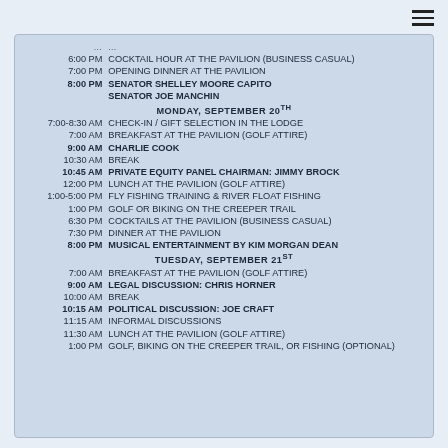6:00 PM — COCKTAIL HOUR AT THE PAVILION (BUSINESS CASUAL)
7:00 PM — OPENING DINNER AT THE PAVILION
8:00 PM — SENATOR SHELLEY MOORE CAPITO / SENATOR JOE MANCHIN
MONDAY, SEPTEMBER 20TH
7:00-8:30 AM — CHECK-IN / GIFT SELECTION IN THE LODGE
7:00 AM — BREAKFAST AT THE PAVILION (GOLF ATTIRE)
9:00 AM — CHARLIE COOK
10:30 AM — BREAK
10:45 AM — PRIVATE EQUITY PANEL CHAIRMAN: JIMMY BROCK
12:00 PM — LUNCH AT THE PAVILION (GOLF ATTIRE)
1:00-5:00 PM — FLY FISHING TRAINING & RIVER FLOAT FISHING
1:00 PM — GOLF OR BIKING ON THE CREEPER TRAIL
6:30 PM — COCKTAILS AT THE PAVILION (BUSINESS CASUAL)
7:30 PM — DINNER AT THE PAVILION
8:00 PM — MUSICAL ENTERTAINMENT BY KIM MORGAN DEAN
TUESDAY, SEPTEMBER 21ST
7:00 AM — BREAKFAST AT THE PAVILION (GOLF ATTIRE)
9:00 AM — LEGAL DISCUSSION: CHRIS HORNER
10:00 AM — BREAK
10:15 AM — POLITICAL DISCUSSION: JOE CRAFT
11:15 AM — INFORMAL DISCUSSIONS
11:30 AM — LUNCH AT THE PAVILION (GOLF ATTIRE)
1:00 PM — GOLF, BIKING ON THE CREEPER TRAIL, OR FISHING (OPTIONAL)